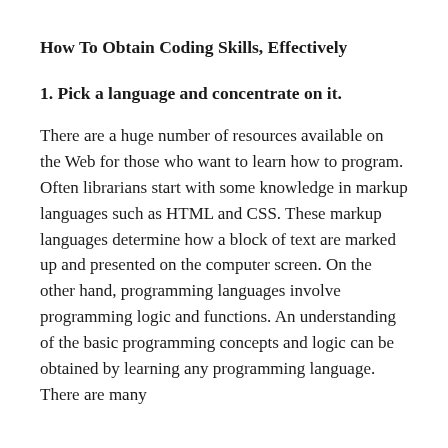How To Obtain Coding Skills, Effectively
1. Pick a language and concentrate on it.
There are a huge number of resources available on the Web for those who want to learn how to program. Often librarians start with some knowledge in markup languages such as HTML and CSS. These markup languages determine how a block of text are marked up and presented on the computer screen. On the other hand, programming languages involve programming logic and functions. An understanding of the basic programming concepts and logic can be obtained by learning any programming language. There are many